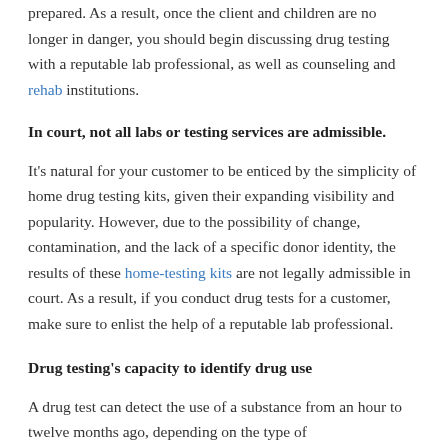prepared. As a result, once the client and children are no longer in danger, you should begin discussing drug testing with a reputable lab professional, as well as counseling and rehab institutions.
In court, not all labs or testing services are admissible.
It's natural for your customer to be enticed by the simplicity of home drug testing kits, given their expanding visibility and popularity. However, due to the possibility of change, contamination, and the lack of a specific donor identity, the results of these home-testing kits are not legally admissible in court. As a result, if you conduct drug tests for a customer, make sure to enlist the help of a reputable lab professional.
Drug testing's capacity to identify drug use
A drug test can detect the use of a substance from an hour to twelve months ago, depending on the type of